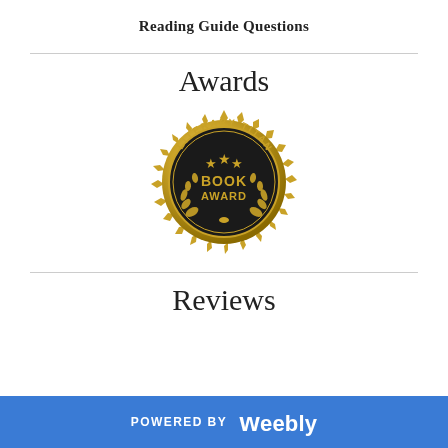Reading Guide Questions
Awards
[Figure (logo): Literary Titan Book Award gold seal/badge with stars and laurel wreath]
Reviews
POWERED BY weebly